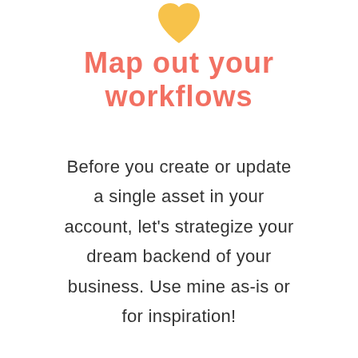[Figure (illustration): A golden/yellow heart shape icon centered at the top of the page]
Map out your workflows
Before you create or update a single asset in your account, let's strategize your dream backend of your business. Use mine as-is or for inspiration!